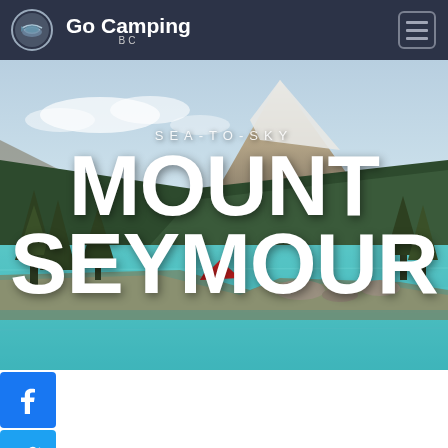Go Camping BC
[Figure (screenshot): Website screenshot of Go Camping BC featuring Mount Seymour. Dark navy header with Go Camping BC logo and hamburger menu. Hero image shows turquoise alpine lake with mountains, snow, forest, and a red tent. Large white bold text reads SEA-TO-SKY / MOUNT / SEYMOUR overlaid on the landscape photo. Three blue social media buttons on the left: Facebook, Twitter, and Email.]
SEA-TO-SKY MOUNT SEYMOUR